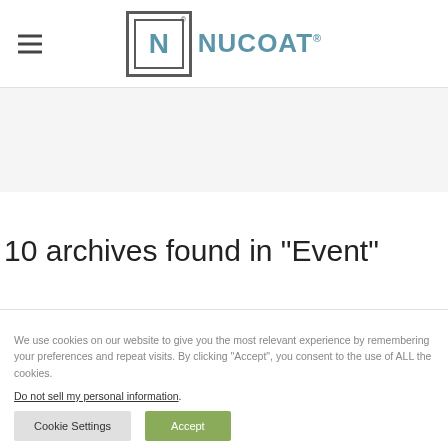NUCOAT
10 archives found in "Event"
We use cookies on our website to give you the most relevant experience by remembering your preferences and repeat visits. By clicking “Accept”, you consent to the use of ALL the cookies.
Do not sell my personal information.